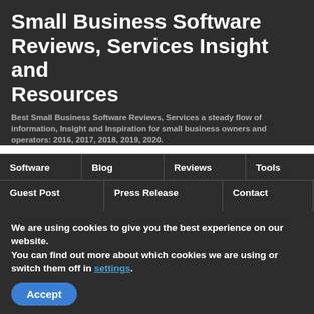Small Business Software Reviews, Services Insight and Resources
Best Small Business Software Reviews, Services a steady flow of information, Insight and Inspiration for small business owners and operators: 2016, 2017, 2018, 2019, 2020.
Software | Blog | Reviews | Tools | Services
Guest Post | Press Release | Contact | Privacy Policy
Authors | Sitemap
6 POS Systems for Restaurants and Bars for Small Business
We are using cookies to give you the best experience on our website.
You can find out more about which cookies we are using or switch them off in settings.